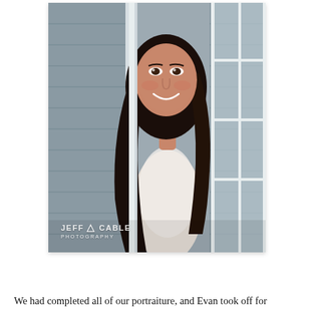[Figure (photo): A woman with long dark hair and a bright smile peeks around an open white French door, wearing a white lace garment. The background shows grey siding and more window panes. A watermark reads 'JEFF CABLE PHOTOGRAPHY' in the lower left corner.]
We had completed all of our portraiture, and Evan took off for